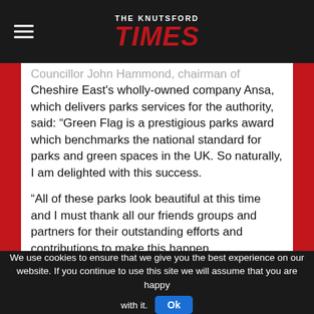THE KNUTSFORD TIMES
Councillor John Hammond, chairman of Cheshire East's wholly-owned company Ansa, which delivers parks services for the authority, said: “Green Flag is a prestigious parks award which benchmarks the national standard for parks and green spaces in the UK. So naturally, I am delighted with this success.
“All of these parks look beautiful at this time and I must thank all our friends groups and partners for their outstanding efforts and contributions to make this happen.
“It was particularly satisfying that Queens Park in Crewe was successful in obtaining the Green Heritage Award this year, following the recent
We use cookies to ensure that we give you the best experience on our website. If you continue to use this site we will assume that you are happy with it.